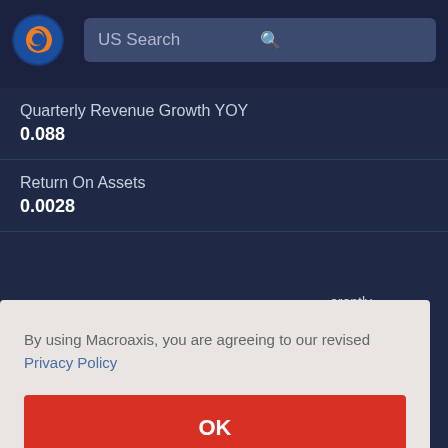[Figure (logo): Macroaxis circular logo with orange and blue globe design]
US Search
| Quarterly Revenue Growth YOY | 0.088 |
| Return On Assets | 0.0028 |
By using Macroaxis, you are agreeing to our revised Privacy Policy
OK
erently that is
recorded on the company's balance sheet. Investors also